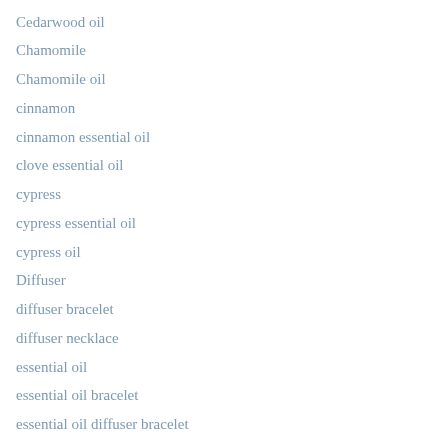Cedarwood oil
Chamomile
Chamomile oil
cinnamon
cinnamon essential oil
clove essential oil
cypress
cypress essential oil
cypress oil
Diffuser
diffuser bracelet
diffuser necklace
essential oil
essential oil bracelet
essential oil diffuser bracelet